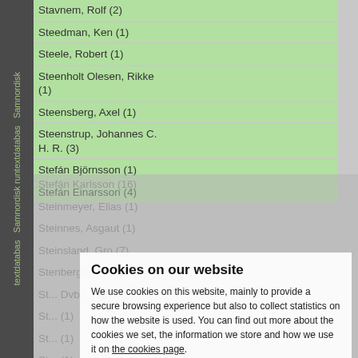Stavnem, Rolf (2)
Steedman, Ken (1)
Steele, Robert (1)
Steenholt Olesen, Rikke (1)
Steensberg, Axel (1)
Steenstrup, Johannes C. H. R. (3)
Stefán Björnsson (1)
Stefán Einarsson (4)
Stefán Karlsson (16)
Steinmeyer, Elias (1)
Steinnes, Asgaut (1)
Steinsland, Gro (7)
Stenberger, Marten (5)
Stenviker, (1)
Steward, (1)
Stiesdal, (1)
Stolanai, (1)
Stjekvat, (1)
Stevensai, (1)
Stjaerna, Knut (1)
Stoklund, Marie (6)
Cookies on our website
We use cookies on this website, mainly to provide a secure browsing experience but also to collect statistics on how the website is used. You can find out more about the cookies we set, the information we store and how we use it on the cookies page.
Continue